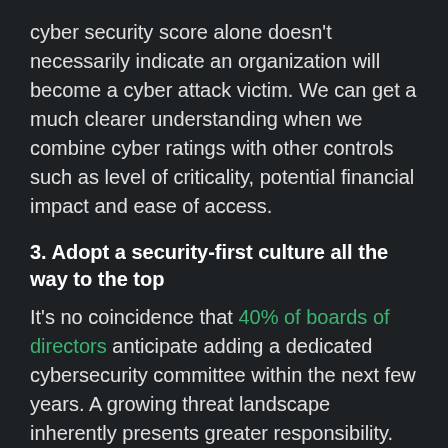cyber security score alone doesn't necessarily indicate an organization will become a cyber attack victim. We can get a much clearer understanding when we combine cyber ratings with other controls such as level of criticality, potential financial impact and ease of access.
3. Adopt a security-first culture all the way to the top
It's no coincidence that 40% of boards of directors anticipate adding a dedicated cybersecurity committee within the next few years. A growing threat landscape inherently presents greater responsibility. It's time we all step up to the plate with a unified approach to TPRM.
Black Kite provides full visibility into a cyber ecosystem. It enables enterprises to continuously assess third-party risks, assigns a letter grade to each